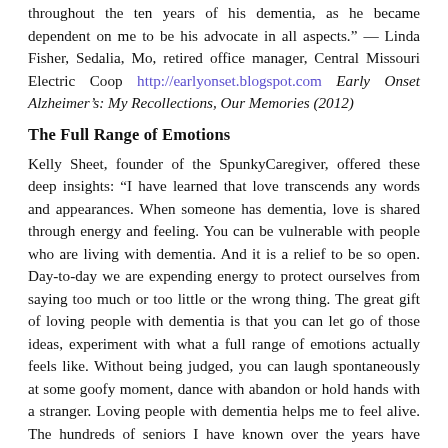throughout the ten years of his dementia, as he became dependent on me to be his advocate in all aspects." — Linda Fisher, Sedalia, Mo, retired office manager, Central Missouri Electric Coop http://earlyonset.blogspot.com Early Onset Alzheimer's: My Recollections, Our Memories (2012)
The Full Range of Emotions
Kelly Sheet, founder of the SpunkyCaregiver, offered these deep insights: “I have learned that love transcends any words and appearances. When someone has dementia, love is shared through energy and feeling. You can be vulnerable with people who are living with dementia. And it is a relief to be so open. Day-to-day we are expending energy to protect ourselves from saying too much or too little or the wrong thing. The great gift of loving people with dementia is that you can let go of those ideas, experiment with what a full range of emotions actually feels like. Without being judged, you can laugh spontaneously at some goofy moment, dance with abandon or hold hands with a stranger. Loving people with dementia helps me to feel alive. The hundreds of seniors I have known over the years have really taught me how to love more freely.” — Kelly Sheets, Founder, Sisters, Or www.TheSpunkyCaregiver.com